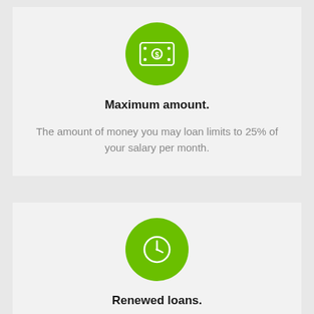[Figure (illustration): Green circle icon with a banknote/money symbol (dollar bill with circle)]
Maximum amount.
The amount of money you may loan limits to 25% of your salary per month.
[Figure (illustration): Green circle icon with a clock symbol]
Renewed loans.
You are allowed to apply for not more than four rollovers which mean refinancing periods.